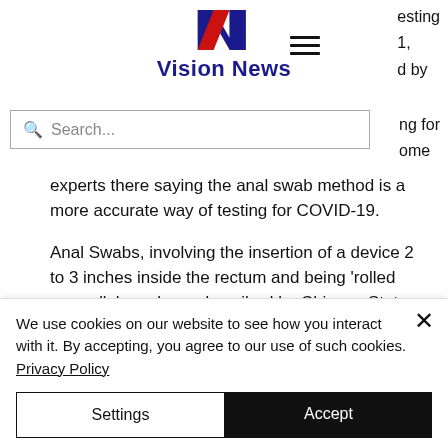Vision News
experts there saying the anal swab method is a more accurate way of testing for COVID-19.
Anal Swabs, involving the insertion of a device 2 to 3 inches inside the rectum and being 'rolled around', have been described by Chinese State officials as 'inconvenient'
We use cookies on our website to see how you interact with it. By accepting, you agree to our use of such cookies. Privacy Policy
Settings
Accept